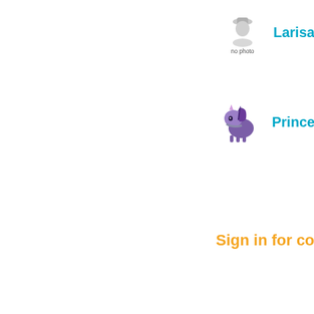[Figure (illustration): No photo placeholder avatar icon (person with hat silhouette, grey tones) with text 'no photo' beneath]
Larisa
[Figure (illustration): Purple unicorn/pony avatar icon facing left]
PrincessLave
Sign in for comme